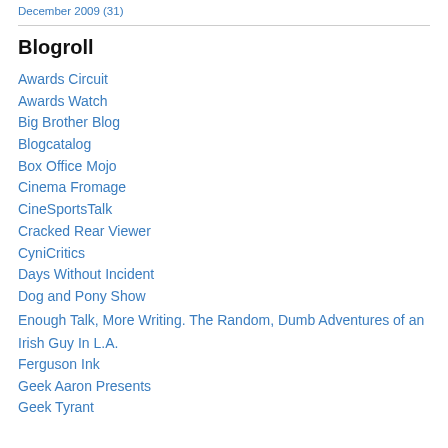December 2009 (31)
Blogroll
Awards Circuit
Awards Watch
Big Brother Blog
Blogcatalog
Box Office Mojo
Cinema Fromage
CineSportsTalk
Cracked Rear Viewer
CyniCritics
Days Without Incident
Dog and Pony Show
Enough Talk, More Writing. The Random, Dumb Adventures of an Irish Guy In L.A.
Ferguson Ink
Geek Aaron Presents
Geek Tyrant